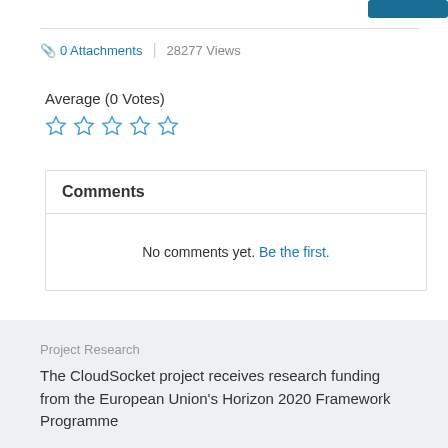0 Attachments | 28277 Views
Average (0 Votes)
[Figure (other): Five empty star rating icons in blue outline]
Comments
No comments yet. Be the first.
Project Research
The CloudSocket project receives research funding from the European Union's Horizon 2020 Framework Programme